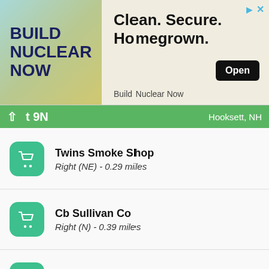[Figure (screenshot): Advertisement banner for 'Build Nuclear Now' showing text 'Clean. Secure. Homegrown.' with an Open button]
t 9N   Hooksett, NH
Twins Smoke Shop
Right (NE) - 0.29 miles
Cb Sullivan Co
Right (N) - 0.39 miles
Cosmo Prof
Right (NE) - 0.47 miles
Smokers Haven - Hooksett